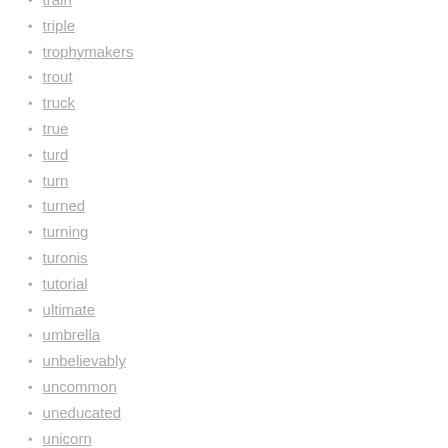train
triple
trophymakers
trout
truck
true
turd
turn
turned
turning
turonis
tutorial
ultimate
umbrella
unbelievably
uncommon
uneducated
unicorn
union
unique